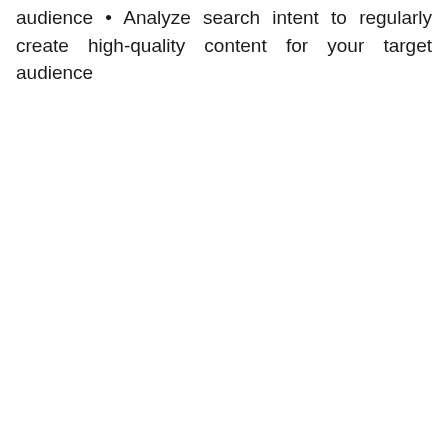audience • Analyze search intent to regularly create high-quality content for your target audience